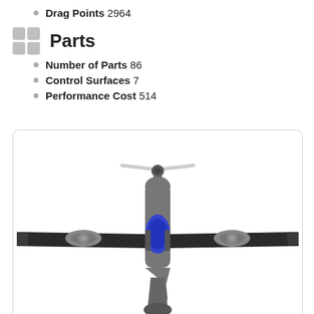Drag Points 2964
Parts
Number of Parts 86
Control Surfaces 7
Performance Cost 514
[Figure (illustration): Top-down view of a dark-colored propeller aircraft with wide wings, gray fuselage, blue cockpit canopy, and round engine nacelles on each wing. A propeller is visible at the front.]